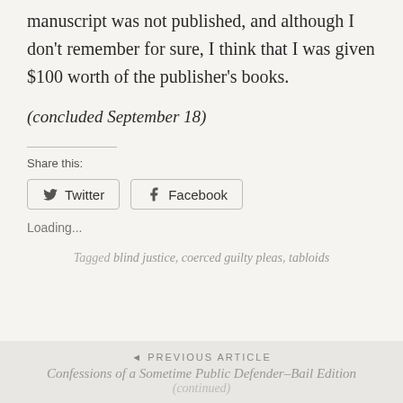manuscript was not published, and although I don't remember for sure, I think that I was given $100 worth of the publisher's books.
(concluded September 18)
Share this:
Twitter  Facebook
Loading...
Tagged blind justice, coerced guilty pleas, tabloids
◄ PREVIOUS ARTICLE
Confessions of a Sometime Public Defender–Bail Edition (continued)